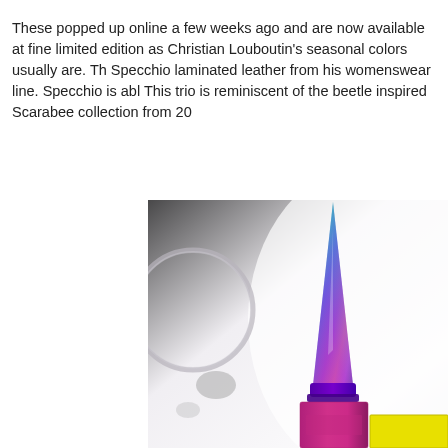These popped up online a few weeks ago and are now available at fine limited edition as Christian Louboutin's seasonal colors usually are. Th Specchio laminated leather from his womenswear line. Specchio is abl This trio is reminiscent of the beetle inspired Scarabee collection from 20
[Figure (photo): Close-up photo showing a Christian Louboutin nail polish bottle with a rainbow iridescent spike/stiletto cap, and a magenta/purple square bottle base. The background is white/light grey with blurred circular shapes. A small yellow bottle is partially visible at the right edge.]